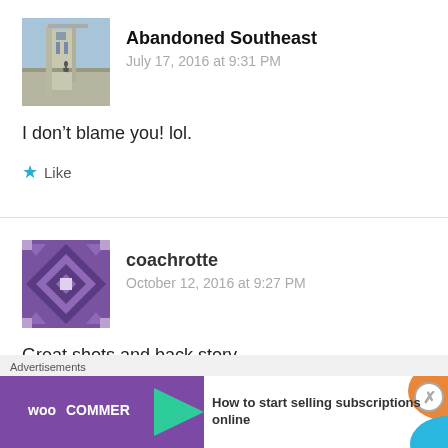[Figure (photo): Avatar image of Abandoned Southeast - a building/construction photo]
Abandoned Southeast
July 17, 2016 at 9:31 PM
I don't blame you! lol.
Like
[Figure (photo): Avatar image of coachrotte - a geometric pattern in purple and white]
coachrotte
October 12, 2016 at 9:27 PM
Great shots and back story.
Advertisements
[Figure (screenshot): WooCommerce advertisement banner - How to start selling subscriptions online]